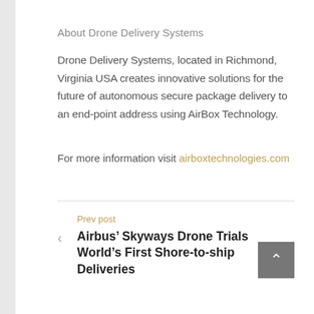About Drone Delivery Systems
Drone Delivery Systems, located in Richmond, Virginia USA creates innovative solutions for the future of autonomous secure package delivery to an end-point address using AirBox Technology.
For more information visit airboxtechnologies.com
Prev post
Airbus' Skyways Drone Trials World's First Shore-to-ship Deliveries